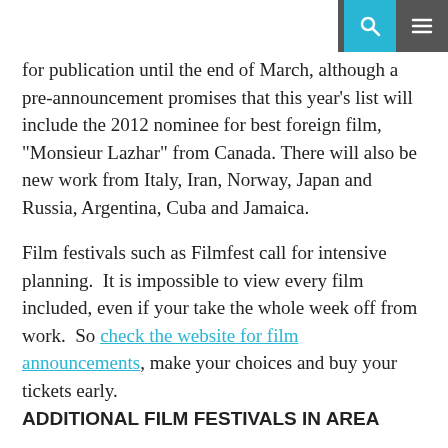[search icon] [menu icon]
for publication until the end of March, although a pre-announcement promises that this year’s list will include the 2012 nominee for best foreign film, “Monsieur Lazhar” from Canada. There will also be new work from Italy, Iran, Norway, Japan and Russia, Argentina, Cuba and Jamaica.
Film festivals such as Filmfest call for intensive planning.  It is impossible to view every film included, even if your take the whole week off from work.  So check the website for film announcements, make your choices and buy your tickets early.
ADDITIONAL FILM FESTIVALS IN AREA
About.com for Washington has information on other film festivals coming to the DC area. The list also includes the outdoor flim venues scheduled for summer 2012 — another opportunity for planning ahead!